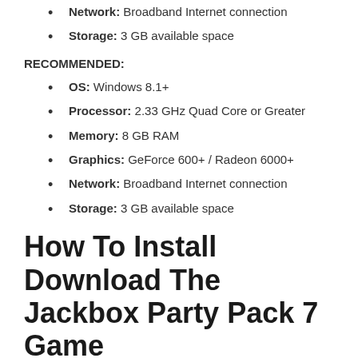Network: Broadband Internet connection
Storage: 3 GB available space
RECOMMENDED:
OS: Windows 8.1+
Processor: 2.33 GHz Quad Core or Greater
Memory: 8 GB RAM
Graphics: GeForce 600+ / Radeon 6000+
Network: Broadband Internet connection
Storage: 3 GB available space
How To Install Download The Jackbox Party Pack 7 Game